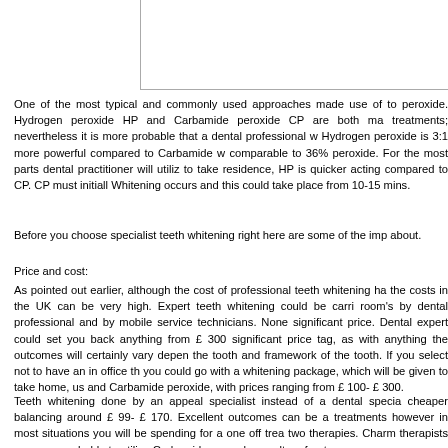[Figure (other): Partial image box with left and bottom borders visible, top portion of a figure or image]
One of the most typical and commonly used approaches made use of to peroxide. Hydrogen peroxide HP and Carbamide peroxide CP are both ma treatments; nevertheless it is more probable that a dental professional w Hydrogen peroxide is 3:1 more powerful compared to Carbamide w comparable to 36% peroxide. For the most parts dental practitioner will utiliz to take residence, HP is quicker acting compared to CP. CP must initiall Whitening occurs and this could take place from 10-15 mins.
Before you choose specialist teeth whitening right here are some of the imp about.
Price and cost:
As pointed out earlier, although the cost of professional teeth whitening ha the costs in the UK can be very high. Expert teeth whitening could be carri room's by dental professional and by mobile service technicians. None significant price. Dental expert could set you back anything from £ 300 significant price tag, as with anything the outcomes will certainly vary depen the tooth and framework of the tooth. If you select not to have an in office th you could go with a whitening package, which will be given to take home, us and Carbamide peroxide, with prices ranging from £ 100- £ 300.
Teeth whitening done by an appeal specialist instead of a dental specia cheaper balancing around £ 99- £ 170. Excellent outcomes can be a treatments however in most situations you will be spending for a one off trea two therapies. Charm therapists are more probable to utilize Carbamide pe such as salt perforate.